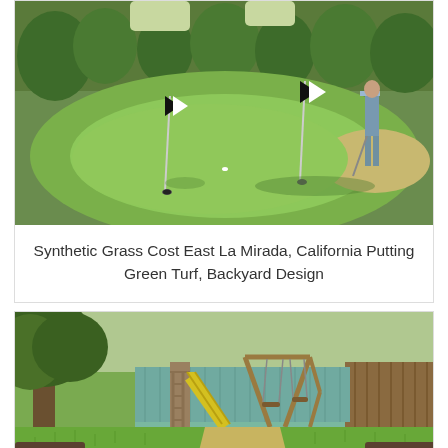[Figure (photo): Backyard putting green with artificial turf, two flagsticks with checkered flags, and a person putting in the background. Trees visible in the background.]
Synthetic Grass Cost East La Mirada, California Putting Green Turf, Backyard Design
[Figure (photo): Backyard with artificial grass lawn, a wooden swing set with yellow slide, a large tree on the left, and a fence in the background.]